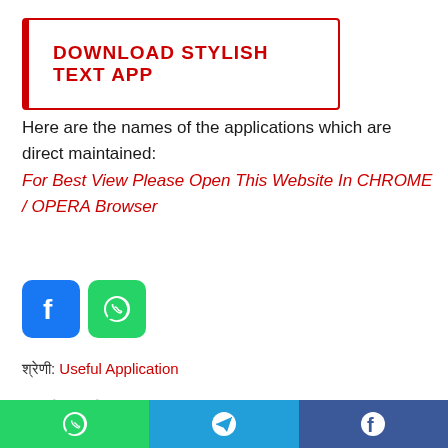[Figure (other): Download Stylish Text App button with red left border and red outlined border]
Here are the names of the applications which are direct maintained:
For Best View Please Open This Website In CHROME / OPERA Browser
[Figure (other): Facebook and WhatsApp social share icon buttons]
श्रेणी: Useful Application
Related Posts
Riser App से Video देखकर पैसे कैसे कमाए 2 || Earn Money With
[Figure (other): Bottom share bar with WhatsApp (green), Telegram (blue), and Facebook (dark blue) icons]